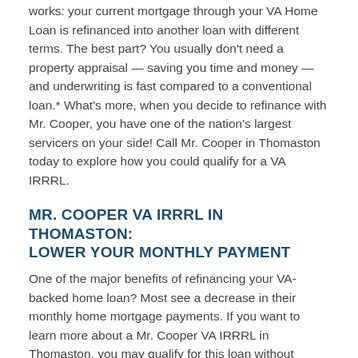works: your current mortgage through your VA Home Loan is refinanced into another loan with different terms. The best part? You usually don't need a property appraisal — saving you time and money — and underwriting is fast compared to a conventional loan.* What's more, when you decide to refinance with Mr. Cooper, you have one of the nation's largest servicers on your side! Call Mr. Cooper in Thomaston today to explore how you could qualify for a VA IRRRL.
MR. COOPER VA IRRRL IN THOMASTON: LOWER YOUR MONTHLY PAYMENT
One of the major benefits of refinancing your VA-backed home loan? Most see a decrease in their monthly home mortgage payments. If you want to learn more about a Mr. Cooper VA IRRRL in Thomaston, you may qualify for this loan without paying any cash out of pocket!* While this type of loan typically requires a funding fee, more often than not it can be worked into the loan terms.* Work with one of our home advisors and find out how a VA IRRRL Refinance with Mr. Cooper in Thomaston can help save you money in the long run